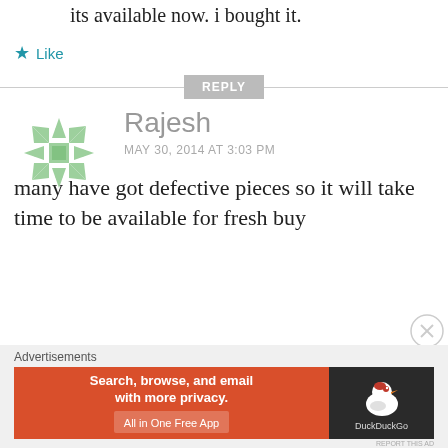its available now. i bought it.
Like
REPLY
Rajesh
MAY 30, 2014 AT 3:03 PM
many have got defective pieces so it will take time to be available for fresh buy
[Figure (logo): DuckDuckGo advertisement banner with orange background reading 'Search, browse, and email with more privacy. All in One Free App' and DuckDuckGo logo on dark background]
Advertisements